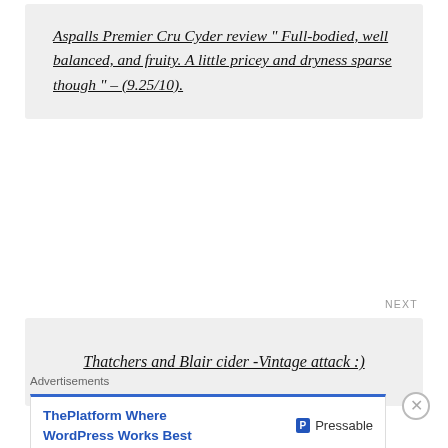Aspalls Premier Cru Cyder review " Full-bodied, well balanced, and fruity. A little pricey and dryness sparse though " – (9.25/10).
NEXT
Thatchers and Blair cider -Vintage attack :)
LEAVE A REPLY
Advertisements
ThePlatform Where WordPress Works Best